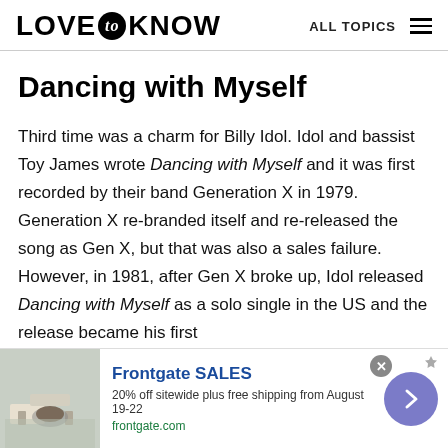LOVE to KNOW  ALL TOPICS
Dancing with Myself
Third time was a charm for Billy Idol. Idol and bassist Toy James wrote Dancing with Myself and it was first recorded by their band Generation X in 1979. Generation X re-branded itself and re-released the song as Gen X, but that was also a sales failure. However, in 1981, after Gen X broke up, Idol released Dancing with Myself as a solo single in the US and the release became his first
[Figure (screenshot): Advertisement banner for Frontgate SALES showing outdoor furniture with fire pit. Text: '20% off sitewide plus free shipping from August 19-22' and 'frontgate.com']